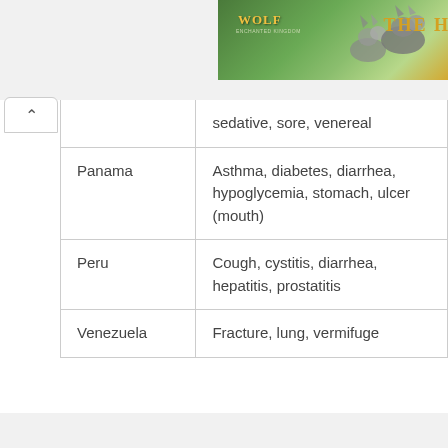[Figure (photo): Wolf game banner advertisement showing wolves in a field with golden text 'WOLF' and 'THE H' visible]
|  | sedative, sore, venereal |
| Panama | Asthma, diabetes, diarrhea, hypoglycemia, stomach, ulcer (mouth) |
| Peru | Cough, cystitis, diarrhea, hepatitis, prostatitis |
| Venezuela | Fracture, lung, vermifuge |